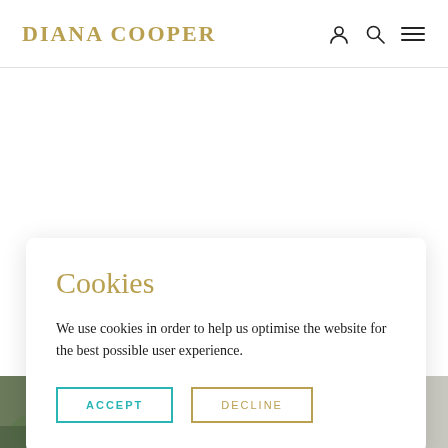DIANA COOPER
Cookies
We use cookies in order to help us optimise the website for the best possible user experience.
ACCEPT
DECLINE
[Figure (photo): Two photos at the bottom of the page: left shows a person outdoors with pink clothing, right shows a person with light hair.]